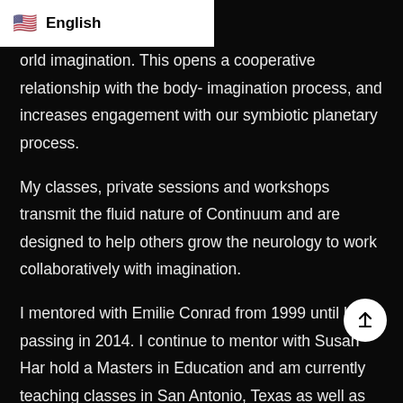English
orld imagination. This opens a cooperative relationship with the body- imagination process, and increases engagement with our symbiotic planetary process.
My classes, private sessions and workshops transmit the fluid nature of Continuum and are designed to help others grow the neurology to work collaboratively with imagination.
I mentored with Emilie Conrad from 1999 until her passing in 2014. I continue to mentor with Susan Har hold a Masters in Education and am currently teaching classes in San Antonio, Texas as well as workshops nationally.